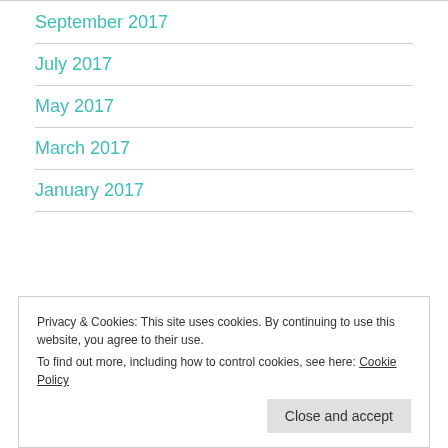September 2017
July 2017
May 2017
March 2017
January 2017
Privacy & Cookies: This site uses cookies. By continuing to use this website, you agree to their use.
To find out more, including how to control cookies, see here: Cookie Policy